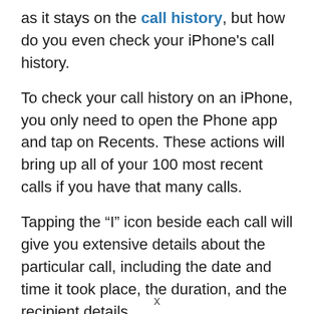as it stays on the call history, but how do you even check your iPhone's call history.
To check your call history on an iPhone, you only need to open the Phone app and tap on Recents. These actions will bring up all of your 100 most recent calls if you have that many calls.
Tapping the “I” icon beside each call will give you extensive details about the particular call, including the date and time it took place, the duration, and the recipient details.
The obvious problem with the iPhone call history, however, is the fact that you can [redacted]
x